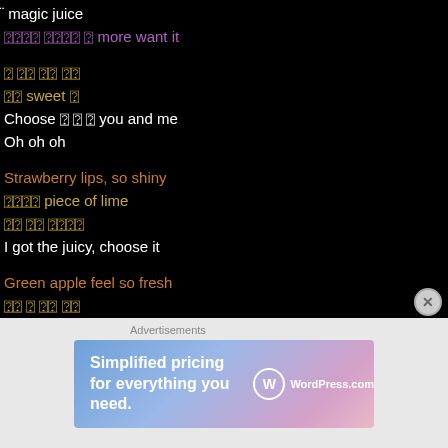magic juice
???? ???? ? more want it
? ?? ?? ??
?? sweet ?
Choose ? ? ? you and me
Oh oh oh
Strawberry lips, so shiny
???? piece of lime
?? ?? ????
I got the juicy, choose it
Green apple feel so fresh
?? ? ?? ??
?? ?? ? ??
You got the juicy, choose it
[Figure (infographic): WordPress.com advertisement banner: 'Simplified pricing for everything you need.' with WordPress.com logo on gradient blue-pink background]